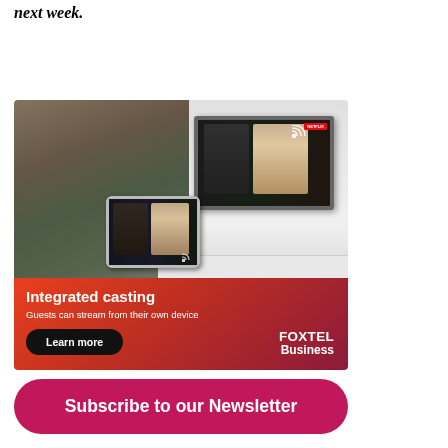next week.
[Figure (photo): Advertisement for Foxtel Business showing a person holding a tablet streaming content, with a TV on the wall also showing streaming content. Lower section has a red gradient background with text 'Integrated casting' and 'Guests can stream from their own device', a 'Learn more' button, and the Foxtel Business logo.]
[Figure (other): Subscribe to our Newsletter button in magenta/pink color with rounded corners]